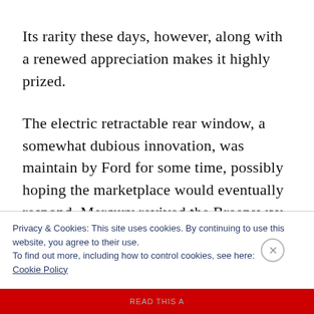Its rarity these days, however, along with a renewed appreciation makes it highly prized.
The electric retractable rear window, a somewhat dubious innovation, was maintain by Ford for some time, possibly hoping the marketplace would eventually respond. Mercury revived the Breezeway in 1963-66 in its Monterey, Montclair and Park Lane models;
Privacy & Cookies: This site uses cookies. By continuing to use this website, you agree to their use.
To find out more, including how to control cookies, see here:
Cookie Policy
Close and accept